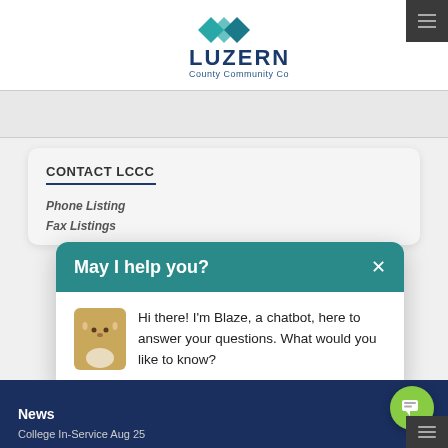[Figure (logo): Luzerne County Community College logo with teal arrow graphic and text]
CONTACT LCCC
Phone Listing
Fax Listings
[Figure (screenshot): Chatbot popup with teal header 'May I help you?' and message from Blaze chatbot: 'Hi there! I'm Blaze, a chatbot, here to answer your questions. What would you like to know?']
Hi there! I'm Blaze, a chatbot, here to answer your questions. What would you like to know?
News  College In-Service Aug 25